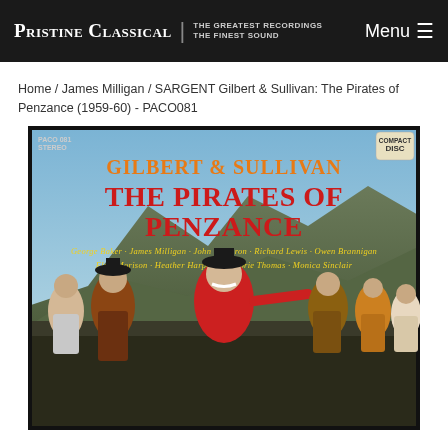Pristine Classical | THE GREATEST RECORDINGS THE FINEST SOUND  Menu
Home / James Milligan / SARGENT Gilbert & Sullivan: The Pirates of Penzance (1959-60) - PACO081
[Figure (illustration): Album cover for Gilbert & Sullivan: The Pirates of Penzance. Text: PACO 081 STEREO top left, COMPACT DISC top right, GILBERT & SULLIVAN in orange at top, THE PIRATES OF PENZANCE in large red letters, cast names in yellow italic script: George Baker, James Milligan, John Cameron, Richard Lewis, Owen Brannigan, Elsie Morison, Heather Harper, Marjorie Thomas, Monica Sinclair. Illustration showing theatrical characters in period costume including pirates and officers against a coastal cliff background.]